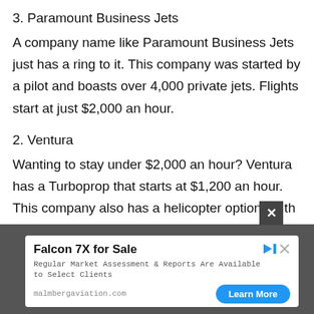3. Paramount Business Jets
A company name like Paramount Business Jets just has a ring to it. This company was started by a pilot and boasts over 4,000 private jets. Flights start at just $2,000 an hour.
2. Ventura
Wanting to stay under $2,000 an hour? Ventura has a Turboprop that starts at $1,200 an hour. This company also has a helicopter option for the same